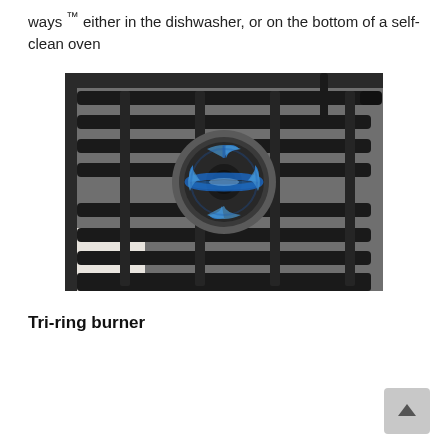ways ™ either in the dishwasher, or on the bottom of a self-clean oven
[Figure (photo): Close-up photograph of a gas stovetop burner with blue flame burning, surrounded by dark cast iron grates on a stainless steel cooktop surface.]
Tri-ring burner